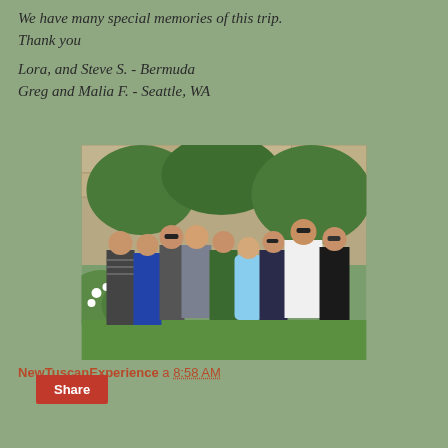We have many special memories of this trip.
Thank you

Lora, and Steve S.  - Bermuda
Greg and Malia F. - Seattle, WA
[Figure (photo): Group photo of approximately 9 people standing together outdoors in front of stone wall and greenery/bushes. People are dressed in summer clothing. Some women in blue outfits, one in light blue dress, one man in white shirt.]
NewTuscanExperience a 8:58 AM
Share